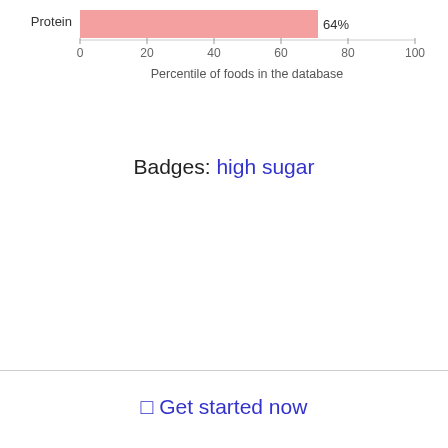[Figure (bar-chart): Percentile of foods in the database]
Badges: high sugar
⬜ Get started now